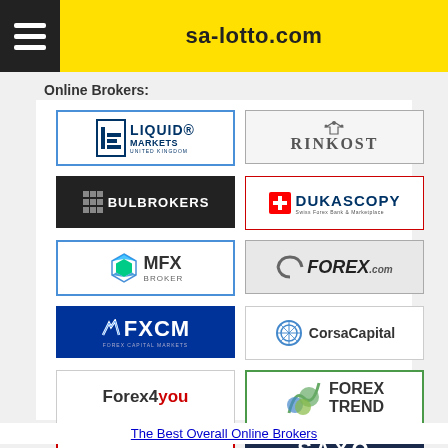sa-lotto.com
Online Brokers:
[Figure (logo): Liquid Markets United Kingdom logo]
[Figure (logo): Rinkost logo]
[Figure (logo): BulBrokers logo]
[Figure (logo): Dukascopy Swiss Forex Bank & Marketplace logo]
[Figure (logo): MFX Broker logo]
[Figure (logo): FOREX.com logo]
[Figure (logo): FXCM logo]
[Figure (logo): Corsa Capital logo]
[Figure (logo): Forex4you logo]
[Figure (logo): Forex Trend logo]
[Figure (logo): TeleTrade logo]
[Figure (logo): Saxo Bank logo]
The Best Overall Online Brokers